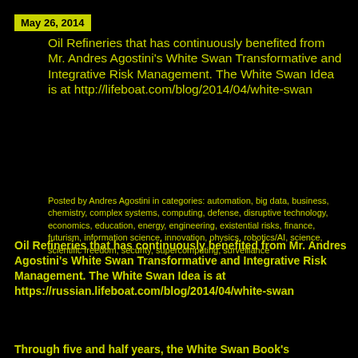May 26, 2014
Oil Refineries that has continuously benefited from Mr. Andres Agostini's White Swan Transformative and Integrative Risk Management. The White Swan Idea is at http://lifeboat.com/blog/2014/04/white-swan
Posted by Andres Agostini in categories: automation, big data, business, chemistry, complex systems, computing, defense, disruptive technology, economics, education, energy, engineering, existential risks, finance, futurism, information science, innovation, physics, robotics/AI, science, scientific freedom, security, supercomputing, surveillance
Oil Refineries that has continuously benefited from Mr. Andres Agostini's White Swan Transformative and Integrative Risk Management. The White Swan Idea is at https://russian.lifeboat.com/blog/2014/04/white-swan
Through five and half years, the White Swan Book's